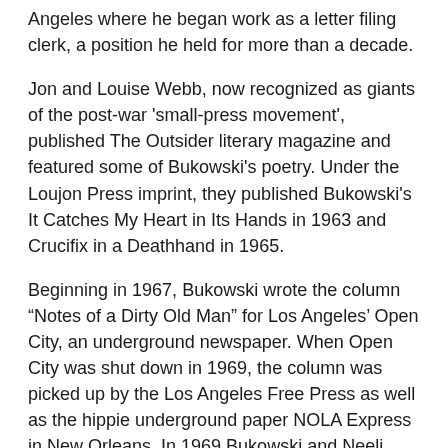Angeles where he began work as a letter filing clerk, a position he held for more than a decade.
Jon and Louise Webb, now recognized as giants of the post-war 'small-press movement', published The Outsider literary magazine and featured some of Bukowski's poetry. Under the Loujon Press imprint, they published Bukowski's It Catches My Heart in Its Hands in 1963 and Crucifix in a Deathhand in 1965.
Beginning in 1967, Bukowski wrote the column “Notes of a Dirty Old Man” for Los Angeles’ Open City, an underground newspaper. When Open City was shut down in 1969, the column was picked up by the Los Angeles Free Press as well as the hippie underground paper NOLA Express in New Orleans. In 1969 Bukowski and Neeli Cherkovski launched their own short-lived mimeographed literary magazine, Laugh Literary and Man the Humping Guns. They produced 3 issues over the next 2 years.